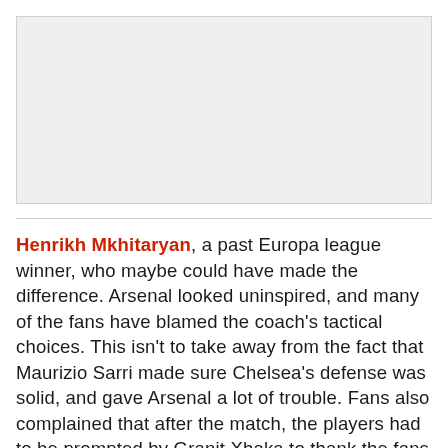[Figure (photo): Image placeholder — photograph area, light grey background]
Henrikh Mkhitaryan, a past Europa league winner, who maybe could have made the difference. Arsenal looked uninspired, and many of the fans have blamed the coach's tactical choices. This isn't to take away from the fact that Maurizio Sarri made sure Chelsea's defense was solid, and gave Arsenal a lot of trouble. Fans also complained that after the match, the players had to be prompted by Granit Xhaka to thank the fans